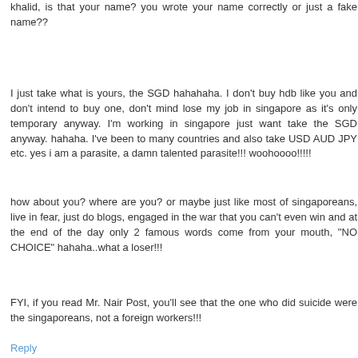khalid, is that your name? you wrote your name correctly or just a fake name??
I just take what is yours, the SGD hahahaha. I don't buy hdb like you and don't intend to buy one, don't mind lose my job in singapore as it's only temporary anyway. I'm working in singapore just want take the SGD anyway. hahaha. I've been to many countries and also take USD AUD JPY etc. yes i am a parasite, a damn talented parasite!!! woohoooo!!!!!
how about you? where are you? or maybe just like most of singaporeans, live in fear, just do blogs, engaged in the war that you can't even win and at the end of the day only 2 famous words come from your mouth, "NO CHOICE" hahaha..what a loser!!!
FYI, if you read Mr. Nair Post, you'll see that the one who did suicide were the singaporeans, not a foreign workers!!!
Reply